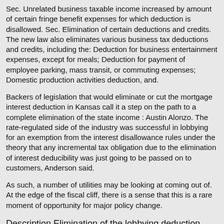Sec. Unrelated business taxable income increased by amount of certain fringe benefit expenses for which deduction is disallowed. Sec. Elimination of certain deductions and credits. The new law also eliminates various business tax deductions and credits, including the: Deduction for business entertainment expenses, except for meals; Deduction for payment of employee parking, mass transit, or commuting expenses; Domestic production activities deduction, and.
Backers of legislation that would eliminate or cut the mortgage interest deduction in Kansas call it a step on the path to a complete elimination of the state income : Austin Alonzo. The rate-regulated side of the industry was successful in lobbying for an exemption from the interest disallowance rules under the theory that any incremental tax obligation due to the elimination of interest deducibility was just going to be passed on to customers, Anderson said.
As such, a number of utilities may be looking at coming out of. At the edge of the fiscal cliff, there is a sense that this is a rare moment of opportunity for major policy change.
Description Elimination of the lobbying deduction PDF
In less lofty terms, there is the practical concern that building a